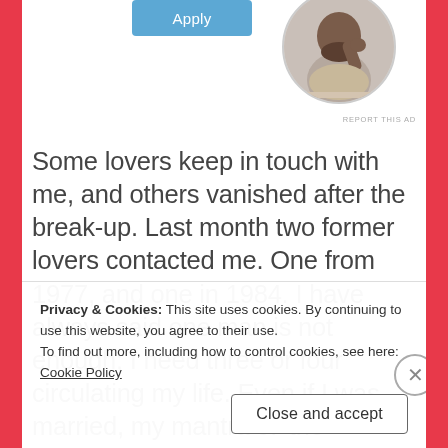[Figure (photo): Circular profile image of a Black man with beard, sitting at desk with hand on chin, thinking. Cropped in a circle.]
REPORT THIS AD
Some lovers keep in touch with me, and others vanished after the break-up. Last month two former lovers contacted me. One from 1977, and one in 1984. I have always said one man is not enough; I need three or four circulating my life. Even if I was married, my mantra of 'the
Privacy & Cookies: This site uses cookies. By continuing to use this website, you agree to their use.
To find out more, including how to control cookies, see here: Cookie Policy
Close and accept